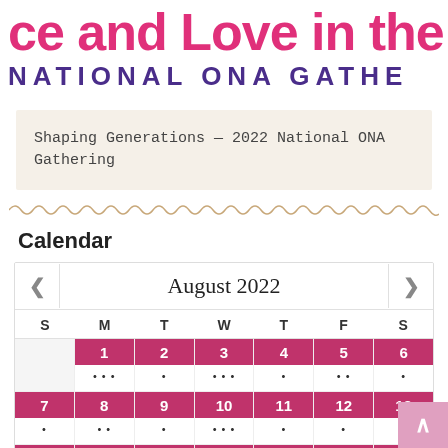ce and Love in the G
NATIONAL ONA GATHE
Shaping Generations — 2022 National ONA Gathering
Calendar
[Figure (other): August 2022 calendar widget showing dates 1-20 with colored date headers in pink/magenta and event dots under certain dates]